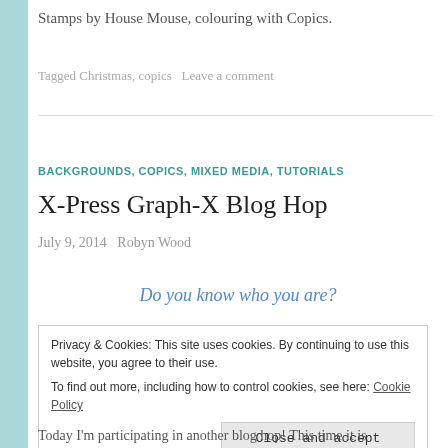Stamps by House Mouse, colouring with Copics.
Tagged Christmas, copics   Leave a comment
BACKGROUNDS, COPICS, MIXED MEDIA, TUTORIALS
X-Press Graph-X Blog Hop
July 9, 2014   Robyn Wood
Do you know who you are?
Privacy & Cookies: This site uses cookies. By continuing to use this website, you agree to their use.
To find out more, including how to control cookies, see here: Cookie Policy
Close and accept
Today I'm participating in another blog hop! This time it is